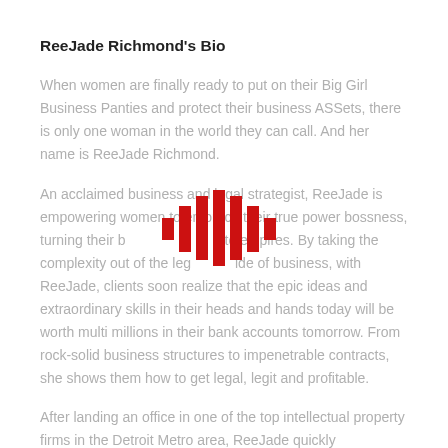ReeJade Richmond's Bio
When women are finally ready to put on their Big Girl Business Panties and protect their business ASSets, there is only one woman in the world they can call. And her name is ReeJade Richmond.
An acclaimed business and legal strategist, ReeJade is empowering women to embrace their true power bossness, turning their businesses into empires. By taking the complexity out of the legal side of business, with ReeJade, clients soon realize that the epic ideas and extraordinary skills in their heads and hands today will be worth multi millions in their bank accounts tomorrow. From rock-solid business structures to impenetrable contracts, she shows them how to get legal, legit and profitable.
[Figure (logo): Red bar chart style logo mark with vertical bars of varying heights forming a waveform/equalizer pattern in red]
After landing an office in one of the top intellectual property firms in the Detroit Metro area, ReeJade quickly